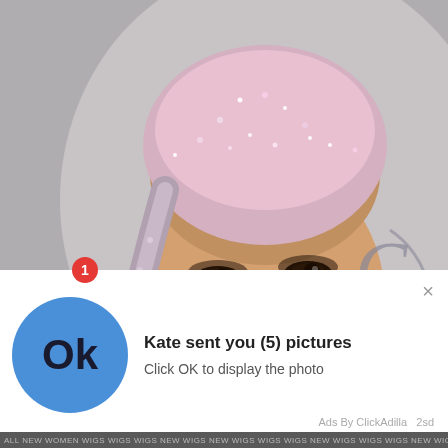[Figure (photo): Photo of a woman wearing a sparkly pink crystal-encrusted headpiece and matching pink dress, with large diamond drop earrings, posing in front of a backdrop with partial text VARO and a cursive logo. Heavy smoky eye makeup, bright smile.]
[Figure (screenshot): Ad notification overlay at the bottom of the image. White rectangular popup with a red badge showing '1', a large blue circle with 'Ok' text in dark, bold text. Text reads: 'Kate sent you (5) pictures' and 'Click OK to display the photo'. Bottom right shows 'Ads By ClickAdilla  2sd'. A scrolling ticker of text at the very bottom.]